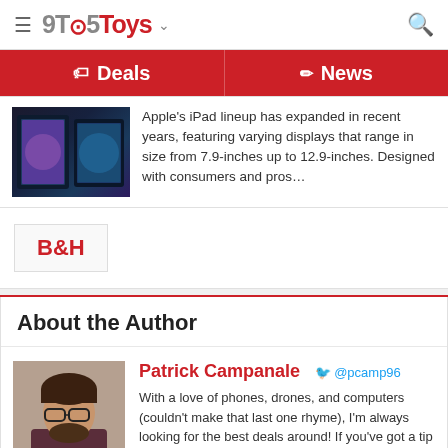9TO5Toys
Deals  News
Apple's iPad lineup has expanded in recent years, featuring varying displays that range in size from 7.9-inches up to 12.9-inches. Designed with consumers and pros…
[Figure (logo): B&H logo]
About the Author
[Figure (photo): Photo of Patrick Campanale]
Patrick Campanale  @pcamp96  With a love of phones, drones, and computers (couldn't make that last one rhyme), I'm always looking for the best deals around! If you've got a tip to an awesome deal, go ahead